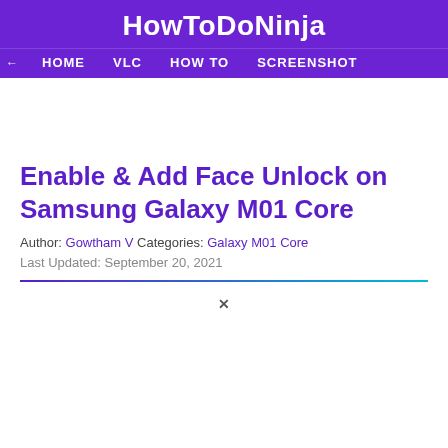HowToDoNinja
HOME  VLC  HOW TO  SCREENSHOT
Enable & Add Face Unlock on Samsung Galaxy M01 Core
Author: Gowtham V Categories: Galaxy M01 Core
Last Updated: September 20, 2021